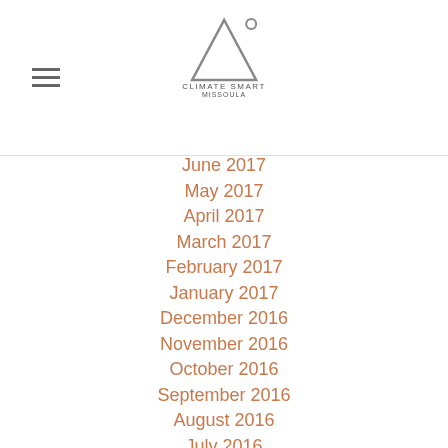Climate Smart Missoula
June 2017
May 2017
April 2017
March 2017
February 2017
January 2017
December 2016
November 2016
October 2016
September 2016
August 2016
July 2016
June 2016
Categories
All
Bicycling